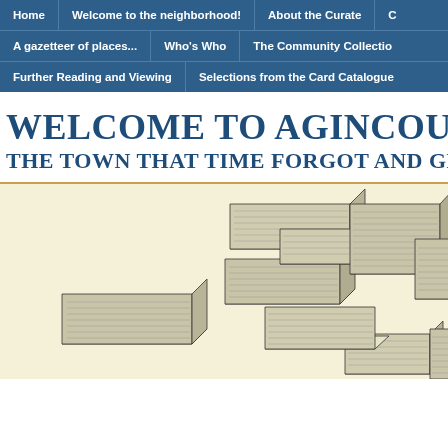Home | Welcome to the neighborhood! | About the Curate | A gazetteer of places... | Who's Who | The Community Collection | Further Reading and Viewing | Selections from the Card Catalogue
WELCOME TO AGINCOURT, THE TOWN THAT TIME FORGOT AND GEO...
[Figure (illustration): Vintage engraving-style illustration of stacked books or card catalogue boxes arranged in a scattered pile, on a cream/sepia background]